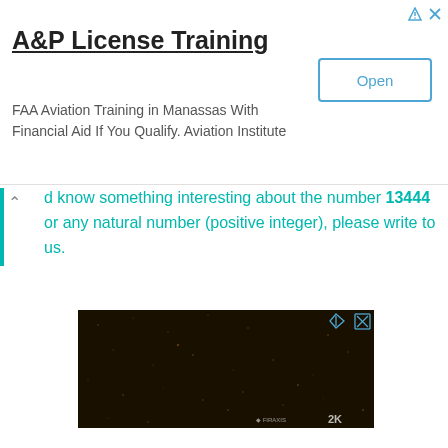A&P License Training
FAA Aviation Training in Manassas With Financial Aid If You Qualify. Aviation Institute
d know something interesting about the number 13444 or any natural number (positive integer), please write to us.
[Figure (photo): Dark background video thumbnail with Firaxis and 2K logos in bottom right corner]